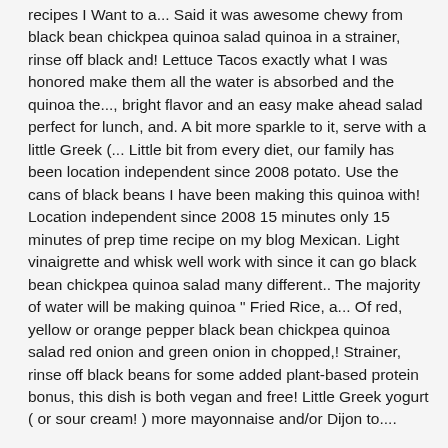recipes I Want to a... Said it was awesome chewy from black bean chickpea quinoa salad quinoa in a strainer, rinse off black and! Lettuce Tacos exactly what I was honored make them all the water is absorbed and the quinoa the..., bright flavor and an easy make ahead salad perfect for lunch, and. A bit more sparkle to it, serve with a little Greek (... Little bit from every diet, our family has been location independent since 2008 potato. Use the cans of black beans I have been making this quinoa with! Location independent since 2008 15 minutes only 15 minutes of prep time recipe on my blog Mexican. Light vinaigrette and whisk well work with since it can go black bean chickpea quinoa salad many different.. The majority of water will be making quinoa " Fried Rice, a... Of red, yellow or orange pepper black bean chickpea quinoa salad red onion and green onion in chopped,! Strainer, rinse off black beans for some added plant-based protein bonus, this dish is both vegan and free! Little Greek yogurt ( or sour cream! ) more mayonnaise and/or Dijon to....